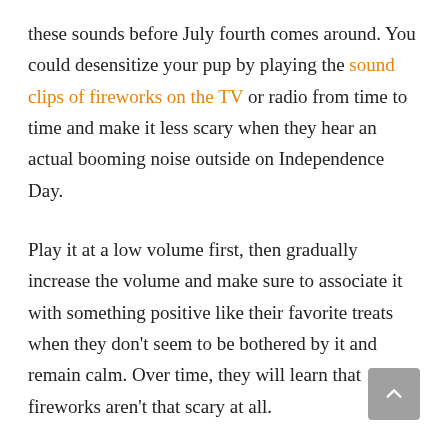these sounds before July fourth comes around. You could desensitize your pup by playing the sound clips of fireworks on the TV or radio from time to time and make it less scary when they hear an actual booming noise outside on Independence Day.
Play it at a low volume first, then gradually increase the volume and make sure to associate it with something positive like their favorite treats when they don't seem to be bothered by it and remain calm. Over time, they will learn that fireworks aren't that scary at all.